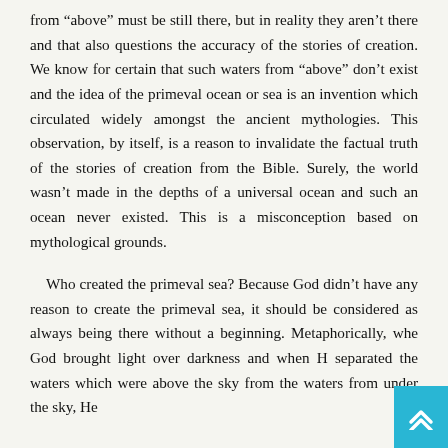from “above” must be still there, but in reality they aren’t there and that also questions the accuracy of the stories of creation. We know for certain that such waters from “above” don’t exist and the idea of the primeval ocean or sea is an invention which circulated widely amongst the ancient mythologies. This observation, by itself, is a reason to invalidate the factual truth of the stories of creation from the Bible. Surely, the world wasn’t made in the depths of a universal ocean and such an ocean never existed. This is a misconception based on mythological grounds.
Who created the primeval sea? Because God didn’t have any reason to create the primeval sea, it should be considered as always being there without a beginning. Metaphorically, when God brought light over darkness and when He separated the waters which were above the sky from the waters from under the sky, He